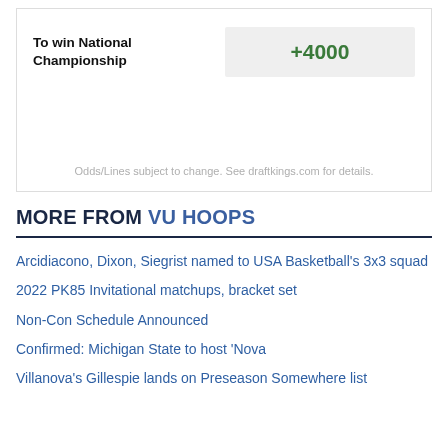| To win National Championship | Odds |
| --- | --- |
| To win National Championship | +4000 |
Odds/Lines subject to change. See draftkings.com for details.
MORE FROM VU HOOPS
Arcidiacono, Dixon, Siegrist named to USA Basketball's 3x3 squad
2022 PK85 Invitational matchups, bracket set
Non-Con Schedule Announced
Confirmed: Michigan State to host 'Nova
Villanova's Gillespie lands on Preseason Somewhere list